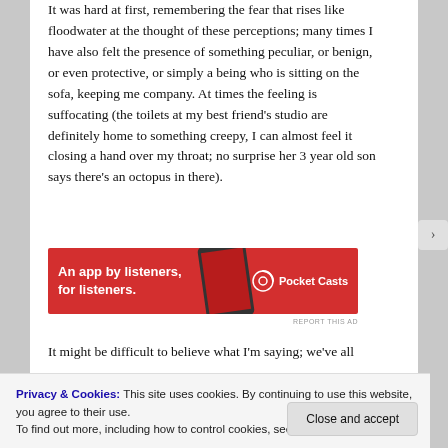It was hard at first, remembering the fear that rises like floodwater at the thought of these perceptions; many times I have also felt the presence of something peculiar, or benign, or even protective, or simply a being who is sitting on the sofa, keeping me company. At times the feeling is suffocating (the toilets at my best friend's studio are definitely home to something creepy, I can almost feel it closing a hand over my throat; no surprise her 3 year old son says there's an octopus in there).
[Figure (other): Pocket Casts advertisement banner: red background with text 'An app by listeners, for listeners.' and Pocket Casts logo on the right, with a phone mockup in the center.]
It might be difficult to believe what I'm saying; we've all
Privacy & Cookies: This site uses cookies. By continuing to use this website, you agree to their use.
To find out more, including how to control cookies, see here: Cookie Policy